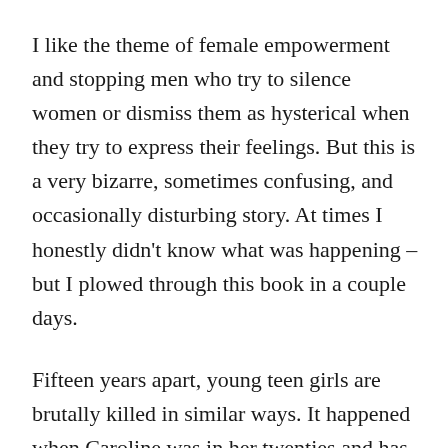I like the theme of female empowerment and stopping men who try to silence women or dismiss them as hysterical when they try to express their feelings. But this is a very bizarre, sometimes confusing, and occasionally disturbing story. At times I honestly didn't know what was happening – but I plowed through this book in a couple days.
Fifteen years apart, young teen girls are brutally killed in similar ways. It happened when Caroline was in her twenties and has started again. She's understandably worried about her thirteen-year-old daughter, Lila. When Lila begins acting strangely, memories Caroline hoped to keep buried are resurrected, and her